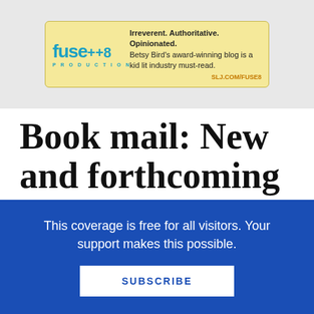[Figure (logo): Fuse #8 Production advertisement banner with yellow/cream background. Logo shows 'fuse' in teal with '#8' and 'PRODUCTION' text. Ad text reads: Irreverent. Authoritative. Opinionated. Betsy Bird's award-winning blog is a kid lit industry must-read. SLJ.COM/FUSE8]
Book mail: New and forthcoming books for middle grade and YA readers
This coverage is free for all visitors. Your support makes this possible.